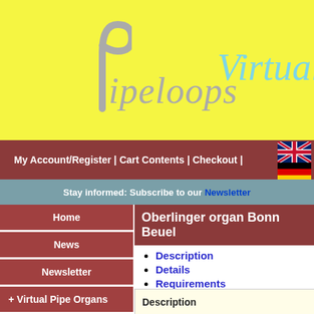[Figure (logo): Pipeloops Virtual Pipe Organs logo on yellow background with stylized P pipe icon]
My Account/Register | Cart Contents | Checkout |
Stay informed: Subscribe to our Newsletter
Home
News
Newsletter
+ Virtual Pipe Organs
+ Store
+ Info
+ Downloads
Oberlinger organ Bonn Beuel
Description
Details
Requirements Licence Inform.
Images
Sound Demonstrations
Trial Version
Description